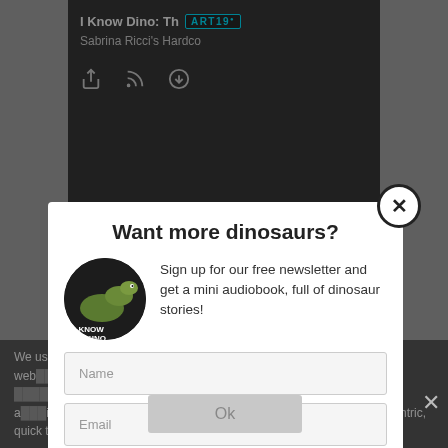[Figure (screenshot): Dark podcast player UI showing 'I Know Dino: Th' title and 'Sabrina Ricci's Hardco' subtitle with ART19 logo and media control icons]
Want more dinosaurs?
Sign up for our free newsletter and get a mini audiobook, full of dinosaur stories!
[Figure (illustration): Circular thumbnail image of a dinosaur (T-Rex) with 'I Know Dino' text overlay]
Name
Email
Subscribe
We use ence on our web hat you ways. eople, and worked slowly ically. He was bald with a large beard. C ssionate and eccentric, quick to describe fossils, and liked women
Ok